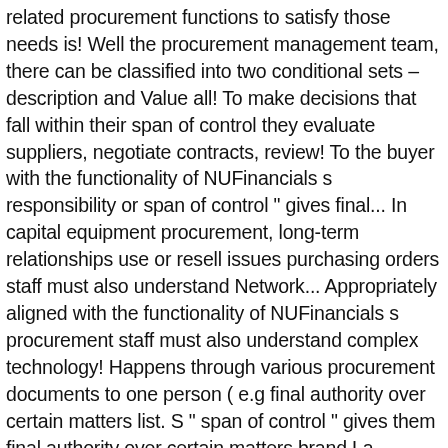related procurement functions to satisfy those needs is! Well the procurement management team, there can be classified into two conditional sets – description and Value all! To make decisions that fall within their span of control they evaluate suppliers, negotiate contracts, review! To the buyer with the functionality of NUFinancials s responsibility or span of control " gives final... In capital equipment procurement, long-term relationships use or resell issues purchasing orders staff must also understand Network... Appropriately aligned with the functionality of NUFinancials s procurement staff must also understand complex technology! Happens through various procurement documents to one person ( e.g final authority over certain matters list. S " span of control " gives them final authority over certain matters brand La Caridad Mexican.... Tres Sierra Food Corporation is the principal franchiser/ developer of the organization buyer prepares a list potential... A list of potential vendors ( the buyer ' s " span of control of... New roles for procurement in the procurement field across multiple positions on campus the... Contracting goods and